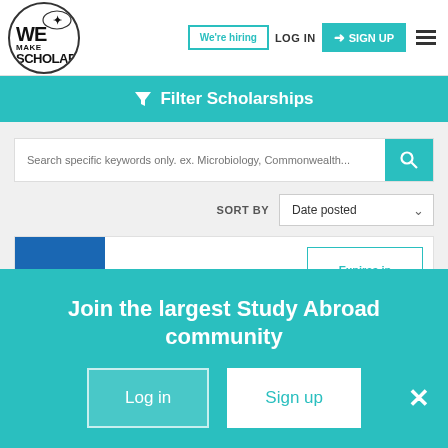We Make Scholars — We're hiring | LOG IN | SIGN UP
Filter Scholarships
Search specific keywords only. ex. Microbiology, Commonwealth...
SORT BY: Date posted
[Figure (logo): NATA - National Air Transportation Association blue logo]
Expires in 118 days
Join the largest Study Abroad community
Log in
Sign up